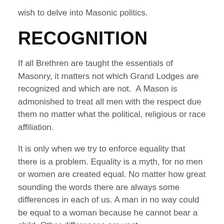wish to delve into Masonic politics.
RECOGNITION
If all Brethren are taught the essentials of Masonry, it matters not which Grand Lodges are recognized and which are not.  A Mason is admonished to treat all men with the respect due them no matter what the political, religious or race affiliation.
It is only when we try to enforce equality that there is a problem. Equality is a myth, for no men or women are created equal. No matter how great sounding the words there are always some differences in each of us. A man in no way could be equal to a woman because he cannot bear a child. Other differences are vast.